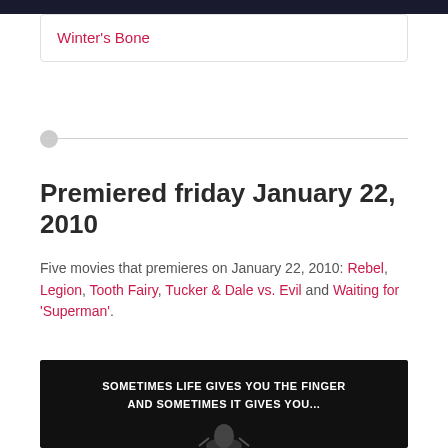[Figure (photo): Dark banner image at the top of the page]
Winter's Bone
Premiered friday January 22, 2010
Five movies that premieres on January 22, 2010: Rebel, Legion, Tooth Fairy, Tucker & Dale vs. Evil and Waiting for 'Superman'.
[Figure (photo): Black and white movie still with text: SOMETIMES LIFE GIVES YOU THE FINGER AND SOMETIMES IT GIVES YOU...]